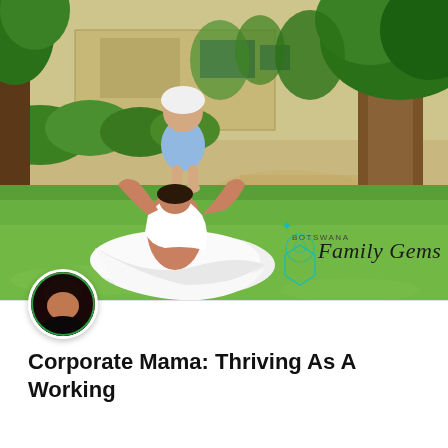[Figure (photo): A woman in a flowing white dress sitting on green grass, lifting a baby dressed in blue above her head. Background shows lush green trees, shrubs, a sandy path, and a building. A logo reading 'BOTSWANA Family Gems' with a decorative icon appears in the lower right of the photo.]
Corporate Mama: Thriving As A Working